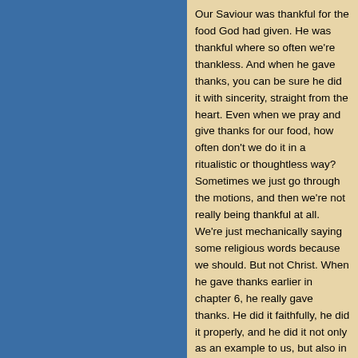Our Saviour was thankful for the food God had given. He was thankful where so often we're thankless. And when he gave thanks, you can be sure he did it with sincerity, straight from the heart. Even when we pray and give thanks for our food, how often don't we do it in a ritualistic or thoughtless way? Sometimes we just go through the motions, and then we're not really being thankful at all. We're just mechanically saying some religious words because we should. But not Christ. When he gave thanks earlier in chapter 6, he really gave thanks. He did it faithfully, he did it properly, and he did it not only as an example to us, but also in our place. Remember: his obedience is ours when we believe in him.
So the crowd on the northeastern shore gets larger with these other people from Tiberias. All together they're frantically looking for Jesus. Where could he be? Eventually they conclude that somehow he's slipped away. The boat is gone, the disciples are gone, and Jesus must be gone too. Where did they go? Somehow the crowds figure out that the best place to search would